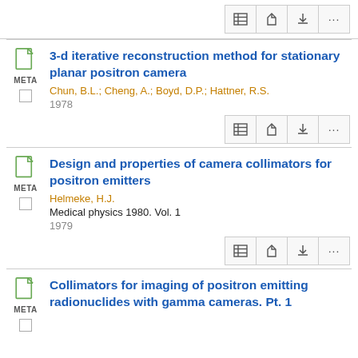3-d iterative reconstruction method for stationary planar positron camera
Chun, B.L.; Cheng, A.; Boyd, D.P.; Hattner, R.S.
1978
Design and properties of camera collimators for positron emitters
Helmeke, H.J.
Medical physics 1980. Vol. 1
1979
Collimators for imaging of positron emitting radionuclides with gamma cameras. Pt. 1